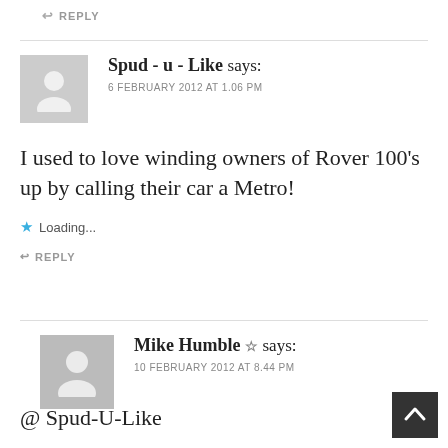↩ REPLY
Spud - u - Like says:
6 FEBRUARY 2012 AT 1.06 PM
I used to love winding owners of Rover 100's up by calling their car a Metro!
★ Loading...
↩ REPLY
Mike Humble ☆ says:
10 FEBRUARY 2012 AT 8.44 PM
@ Spud-U-Like